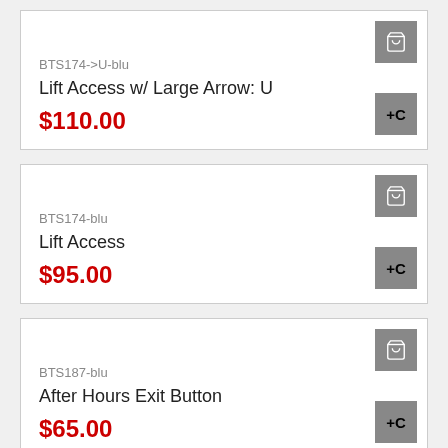BTS174->U-blu
Lift Access w/ Large Arrow: U
$110.00
BTS174-blu
Lift Access
$95.00
BTS187-blu
After Hours Exit Button
$65.00